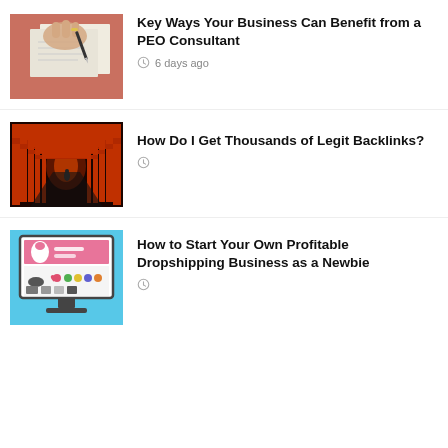[Figure (photo): Person's hand signing or writing on paper documents on a pinkish-red surface]
Key Ways Your Business Can Benefit from a PEO Consultant
6 days ago
[Figure (photo): Dark tunnel of red torii gates with light at the end]
How Do I Get Thousands of Legit Backlinks?
[Figure (illustration): Ecommerce website illustration on a monitor with products, on light blue background]
How to Start Your Own Profitable Dropshipping Business as a Newbie